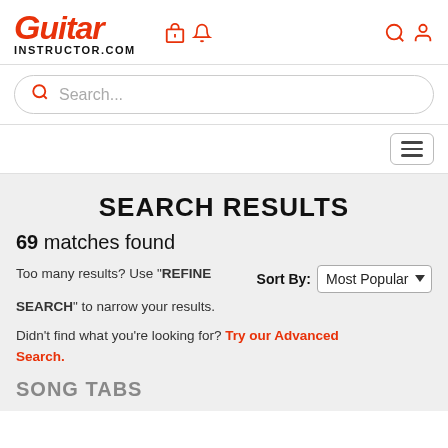Guitar Instructor.com
[Figure (screenshot): Search bar with magnifying glass icon and placeholder text 'Search...']
[Figure (other): Hamburger menu button (three horizontal lines)]
SEARCH RESULTS
69 matches found
Too many results? Use "REFINE SEARCH" to narrow your results.
Sort By: Most Popular
Didn't find what you're looking for? Try our Advanced Search.
SONG TABS